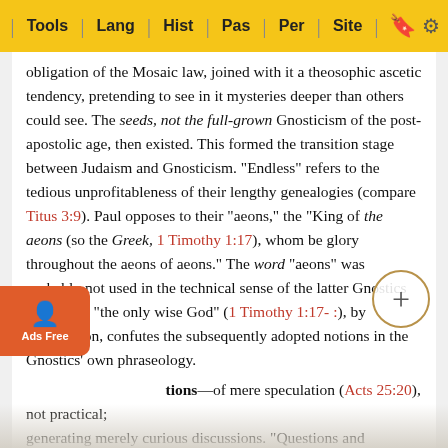Tools | Lang | Hist | Pas | Per | Site
obligation of the Mosaic law, joined with it a theosophic ascetic tendency, pretending to see in it mysteries deeper than others could see. The seeds, not the full-grown Gnosticism of the post-apostolic age, then existed. This formed the transition stage between Judaism and Gnosticism. "Endless" refers to the tedious unprofitableness of their lengthy genealogies (compare Titus 3:9). Paul opposes to their "aeons," the "King of the aeons (so the Greek, 1 Timothy 1:17), whom be glory throughout the aeons of aeons." The word "aeons" was probably not used in the technical sense of the latter Gnostics as yet; but "the only wise God" (1 Timothy 1:17- :), by anticipation, confutes the subsequently adopted notions in the Gnostics' own phraseology.
tions—of mere speculation (Acts 25:20), not practical; generating merely curious discussions. "Questions and strife... thy 6:4- :) ...ling"